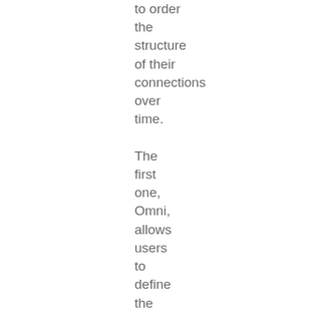to order the structure of their connections over time. The first one, Omni, allows users to define the behaviour of audio objects at the